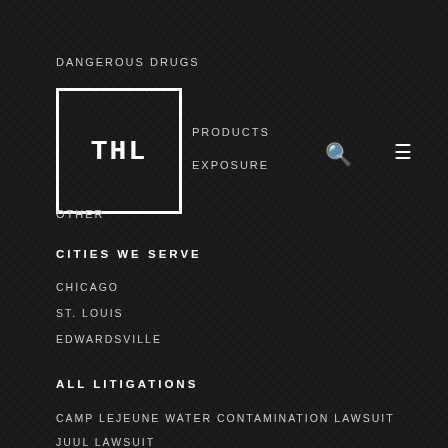DANGEROUS DRUGS
[Figure (logo): THL law firm logo, white block letters on dark background in bordered box]
PRODUCTS
EXPOSURE
OTHER
CITIES WE SERVE
CHICAGO
ST. LOUIS
EDWARDSVILLE
ALL LITIGATIONS
CAMP LEJEUNE WATER CONTAMINATION LAWSUIT
JUUL LAWSUIT